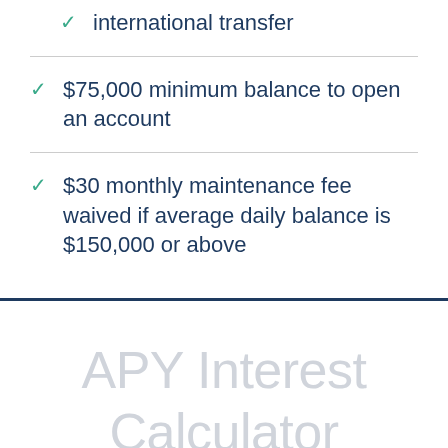international transfer
$75,000 minimum balance to open an account
$30 monthly maintenance fee waived if average daily balance is $150,000 or above
APY Interest Calculator